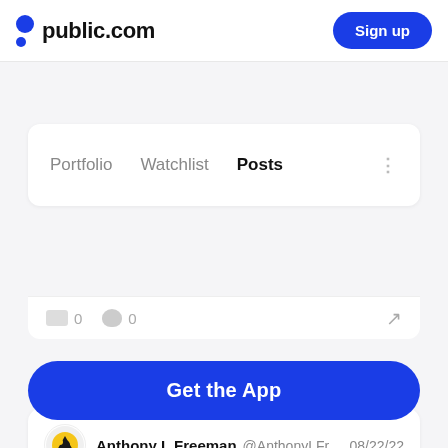public.com | Sign up
Portfolio   Watchlist   Posts
0   0
Anthony L Freeman @AnthonyLFr...  08/22/22
Invested in Anheuser-Busch InBev
Tipped
Get the App